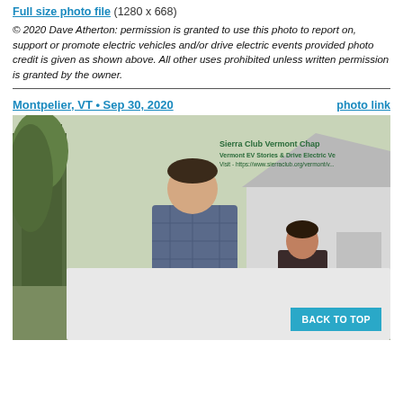Full size photo file (1280 x 668)
© 2020 Dave Atherton: permission is granted to use this photo to report on, support or promote electric vehicles and/or drive electric events provided photo credit is given as shown above. All other uses prohibited unless written permission is granted by the owner.
Montpelier, VT • Sep 30, 2020   photo link
[Figure (photo): Man and child standing in front of a vehicle with Sierra Club Vermont Chapter event graphics visible in the background. Outdoor setting with trees.]
BACK TO TOP